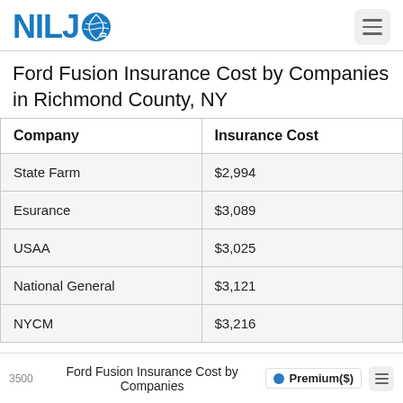NILJ (logo)
Ford Fusion Insurance Cost by Companies in Richmond County, NY
| Company | Insurance Cost |
| --- | --- |
| State Farm | $2,994 |
| Esurance | $3,089 |
| USAA | $3,025 |
| National General | $3,121 |
| NYCM | $3,216 |
[Figure (bar-chart): Ford Fusion Insurance Cost by Companies]